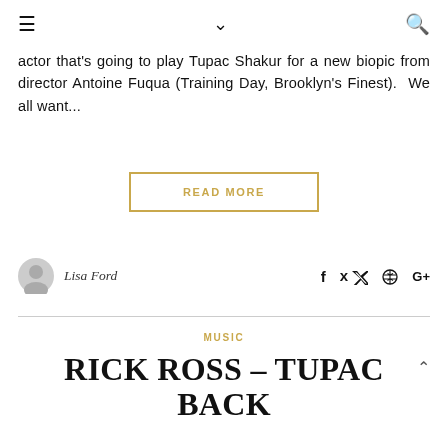≡  ∨  🔍
actor that's going to play Tupac Shakur for a new biopic from director Antoine Fuqua (Training Day, Brooklyn's Finest).  We all want...
READ MORE
Lisa Ford
MUSIC
RICK ROSS – TUPAC BACK